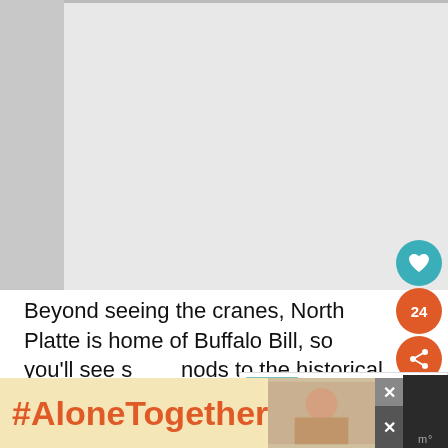[Figure (photo): Large photo placeholder at top of article page, light gray background with darker left strip. Image area appears mostly blank/white.]
[Figure (infographic): Social sidebar with teal heart button, orange count badge showing 24, and orange share button]
Beyond seeing the cranes, North Platte is home of Buffalo Bill, so you'll see some nods to the historical figure. The city is also ho...
[Figure (screenshot): Related article widget with teal bird thumbnail image, orange label 'CONTINUE' and title 'Beginner's Guide To...']
[Figure (screenshot): Bottom advertisement bar with yellow/tan background, orange bold text '#AloneTogether', woman photo, and close/dismiss buttons]